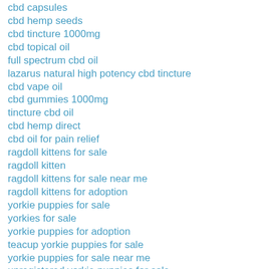cbd capsules
cbd hemp seeds
cbd tincture 1000mg
cbd topical oil
full spectrum cbd oil
lazarus natural high potency cbd tincture
cbd vape oil
cbd gummies 1000mg
tincture cbd oil
cbd hemp direct
cbd oil for pain relief
ragdoll kittens for sale
ragdoll kitten
ragdoll kittens for sale near me
ragdoll kittens for adoption
yorkie puppies for sale
yorkies for sale
yorkie puppies for adoption
teacup yorkie puppies for sale
yorkie puppies for sale near me
unregistered yorkie puppies for sale
american quarter horses for sale
quarter horse for sale